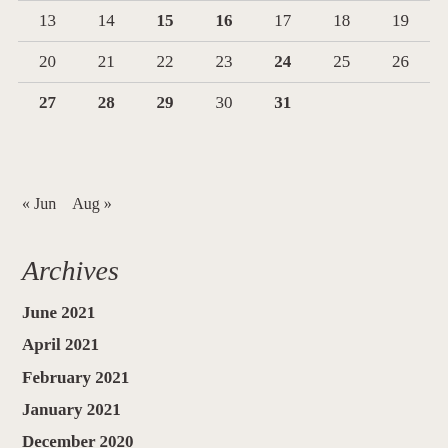| 13 | 14 | 15 | 16 | 17 | 18 | 19 |
| 20 | 21 | 22 | 23 | 24 | 25 | 26 |
| 27 | 28 | 29 | 30 | 31 |  |  |
« Jun   Aug »
Archives
June 2021
April 2021
February 2021
January 2021
December 2020
November 2020